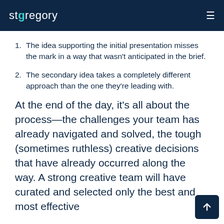stgregory
The idea supporting the initial presentation misses the mark in a way that wasn't anticipated in the brief.
The secondary idea takes a completely different approach than the one they're leading with.
At the end of the day, it's all about the process—the challenges your team has already navigated and solved, the tough (sometimes ruthless) creative decisions that have already occurred along the way. A strong creative team will have curated and selected only the best and most effective